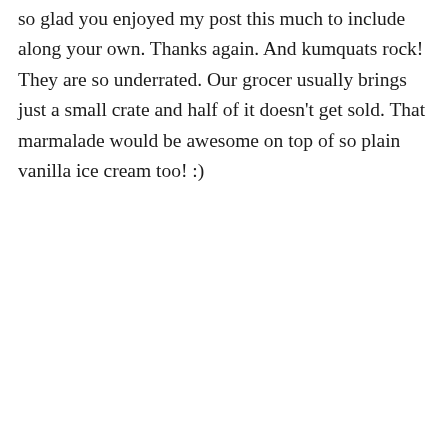so glad you enjoyed my post this much to include along your own. Thanks again. And kumquats rock! They are so underrated. Our grocer usually brings just a small crate and half of it doesn't get sold. That marmalade would be awesome on top of so plain vanilla ice cream too! :)
↪ Reply
Privacy & Cookies: This site uses cookies. By continuing to use this website, you agree to their use.
To find out more, including how to control cookies, see here: Cookie Policy
Close and accept